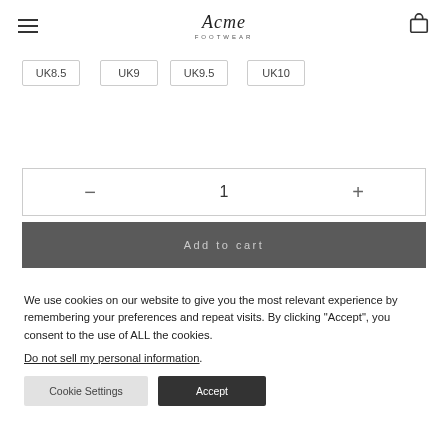Acme — navigation header with hamburger menu and cart icon
UK8.5
UK9
UK9.5
UK10
— 1 +
Add to cart
We use cookies on our website to give you the most relevant experience by remembering your preferences and repeat visits. By clicking "Accept", you consent to the use of ALL the cookies.
Do not sell my personal information.
Cookie Settings
Accept